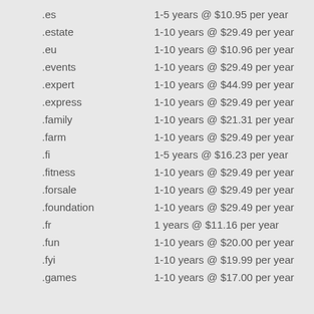.es    1-5 years @ $10.95 per year
.estate    1-10 years @ $29.49 per year
.eu    1-10 years @ $10.96 per year
.events    1-10 years @ $29.49 per year
.expert    1-10 years @ $44.99 per year
.express    1-10 years @ $29.49 per year
.family    1-10 years @ $21.31 per year
.farm    1-10 years @ $29.49 per year
.fi    1-5 years @ $16.23 per year
.fitness    1-10 years @ $29.49 per year
.forsale    1-10 years @ $29.49 per year
.foundation    1-10 years @ $29.49 per year
.fr    1 years @ $11.16 per year
.fun    1-10 years @ $20.00 per year
.fyi    1-10 years @ $19.99 per year
.games    1-10 years @ $17.00 per year